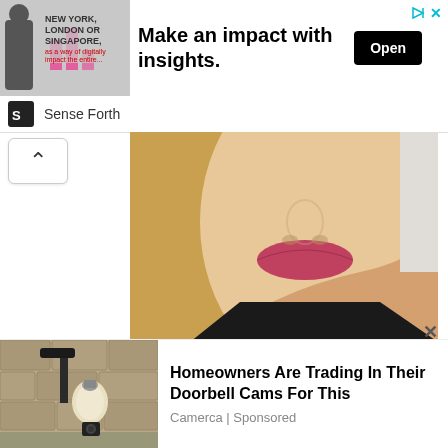[Figure (screenshot): Advertisement banner with image of businessman and text 'New York, London or Singapore' with headline 'Make an impact with insights.' and Open button]
Sense Forth
[Figure (photo): Close-up photo of a blonde woman's face (lower portion showing nose, lips, chin, neck) against a light background]
Elisha Cuthbert
[Figure (screenshot): Advertisement with photo of outdoor light fixture and text 'Homeowners Are Trading In Their Doorbell Cams For This' by Camerca | Sponsored]